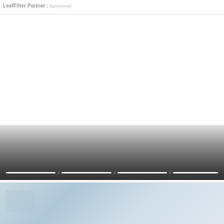LeafFilter Partner | Sponsored
[Figure (photo): Advertisement block with gradient from light gray to dark gray, showing a horizontal progress/timeline bar with white segments and dots near the bottom]
[Figure (photo): Partial photo showing a light blue-gray sky or water scene at the bottom of the page]